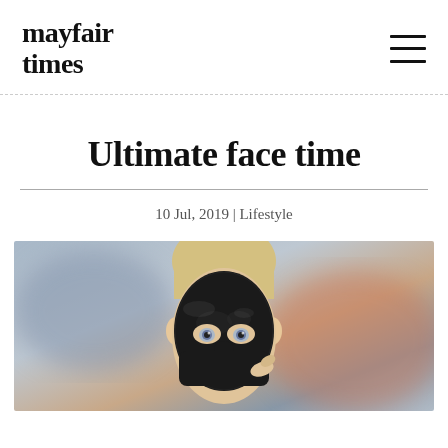mayfair times
Ultimate face time
10 Jul, 2019 | Lifestyle
[Figure (photo): A person with blonde hair pulled back wearing a glossy black face mask, photographed against a blurred blue-grey and warm background.]